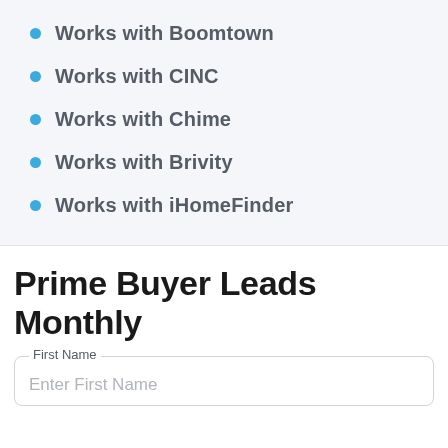Works with Boomtown
Works with CINC
Works with Chime
Works with Brivity
Works with iHomeFinder
Prime Buyer Leads Monthly
First Name — Enter First Name